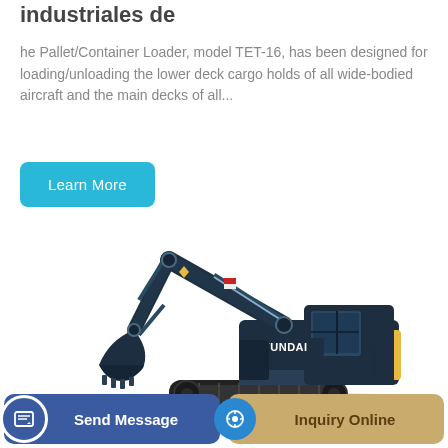industriales de
he Pallet/Container Loader, model TET-16, has been designed for loading/unloading the lower deck cargo holds of all wide-bodied aircraft and the main decks of all...
Learn More
[Figure (photo): Hyundai crawler excavator with blue-black body and yellow accents, shown in side profile with arm extended and bucket lowered]
Send Message
Inquiry Online